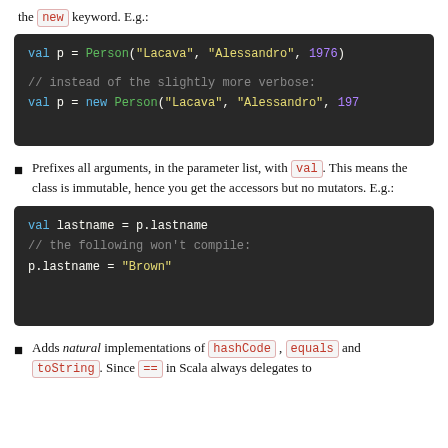the new keyword. E.g.:
[Figure (screenshot): Dark-themed code block showing Scala code: val p = Person("Lacava", "Alessandro", 1976) // instead of the slightly more verbose: val p = new Person("Lacava", "Alessandro", 197]
Prefixes all arguments, in the parameter list, with val. This means the class is immutable, hence you get the accessors but no mutators. E.g.:
[Figure (screenshot): Dark-themed code block showing Scala code: val lastname = p.lastname // the following won't compile: p.lastname = "Brown"]
Adds natural implementations of hashCode, equals and toString. Since == in Scala always delegates to